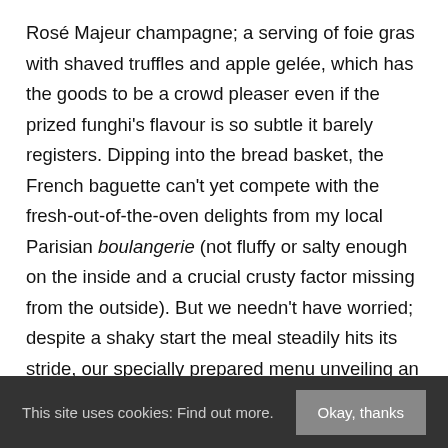Rosé Majeur champagne; a serving of foie gras with shaved truffles and apple gelée, which has the goods to be a crowd pleaser even if the prized funghi's flavour is so subtle it barely registers. Dipping into the bread basket, the French baguette can't yet compete with the fresh-out-of-the-oven delights from my local Parisian boulangerie (not fluffy or salty enough on the inside and a crucial crusty factor missing from the outside). But we needn't have worried; despite a shaky start the meal steadily hits its stride, our specially prepared menu unveiling an abundance of fresh and creative flavours, a pleasant surprise revealed with every course.
the site of this web page and the the
This site uses cookies: Find out more. [Okay, thanks]